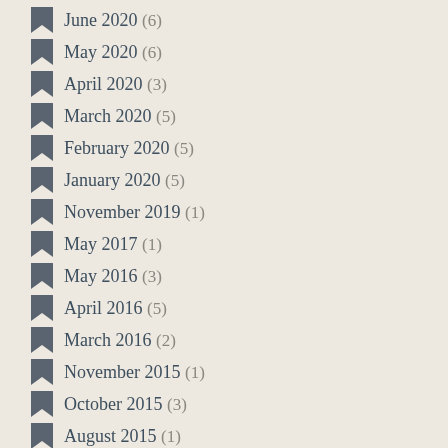June 2020 (6)
May 2020 (6)
April 2020 (3)
March 2020 (5)
February 2020 (5)
January 2020 (5)
November 2019 (1)
May 2017 (1)
May 2016 (3)
April 2016 (5)
March 2016 (2)
November 2015 (1)
October 2015 (3)
August 2015 (1)